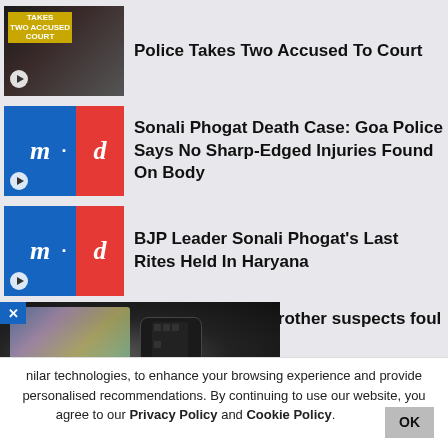[Figure (screenshot): Thumbnail image of woman with text overlay 'TAKES TWO ACCUSED COURT' and play button]
Police Takes Two Accused To Court
[Figure (logo): m·d logo blue and red]
Sonali Phogat Death Case: Goa Police Says No Sharp-Edged Injuries Found On Body
[Figure (logo): m·d logo blue and red]
BJP Leader Sonali Phogat's Last Rites Held In Haryana
[Figure (screenshot): Partial thumbnail and ad overlay with TV remote control image]
Sonali Phogat's Brother suspects foul sudden demise
nilar technologies, to enhance your browsing experience and provide personalised recommendations. By continuing to use our website, you agree to our Privacy Policy and Cookie Policy.